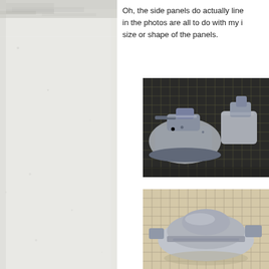[Figure (photo): Left half of page showing a worn, mottled light gray/white textured background with slight noise and dirt marks — appears to be a scanned page margin or background texture.]
Oh, the side panels do actually line in the photos are all to do with my i size or shape of the panels.
[Figure (photo): Close-up photo of grey plastic miniature wargaming models (Space Marine-style tanks or vehicles) placed on a dark gridded cutting mat. The models are unpainted grey resin or plastic.]
[Figure (photo): Close-up photo of another grey plastic miniature wargaming model or vehicle, placed on a beige/tan gridded surface, showing the top-down or side view with detailed mechanical parts.]